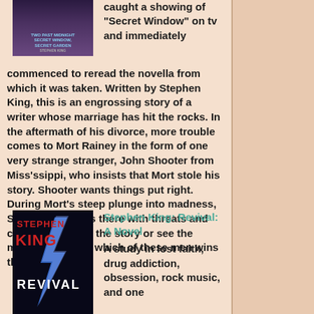[Figure (illustration): Book cover for 'Two Past Midnight: Secret Window, Secret Garden' - dark purple/blue toned cover]
caught a showing of "Secret Window" on tv and immediately commenced to reread the novella from which it was taken. Written by Stephen King, this is an engrossing story of a writer whose marriage has hit the rocks. In the aftermath of his divorce, more trouble comes to Mort Rainey in the form of one very strange stranger, John Shooter from Miss'ssippi, who insists that Mort stole his story. Shooter wants things put right. During Mort's steep plunge into madness, Shooter is always there with threats and challenges. Read the story or see the movie to find out which of these men wins the battle. (****)
[Figure (illustration): Book cover for 'Stephen King: Revival: A Novel' - dark cover with lightning bolt, red title text]
Stephen King: Revival: A Novel
A study in lost faith, drug addiction, obsession, rock music, and one